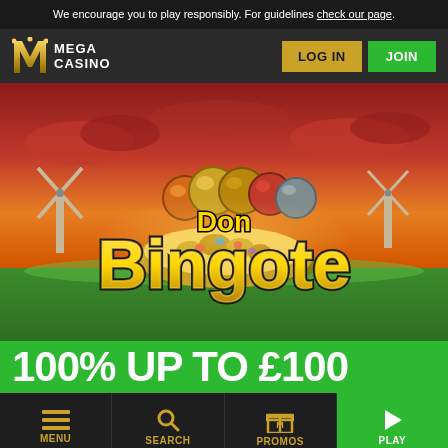We encourage you to play responsibly. For guidelines check our page.
[Figure (logo): Mega Casino logo with gold M emblem and white MEGA CASINO text]
LOG IN
JOIN
[Figure (illustration): Don Bingote game promotional image with golden treasure, bingo balls, and Spanish windmill landscape under dramatic red sky]
100% UP TO £100
MENU
SEARCH
PROMOS
PLAY